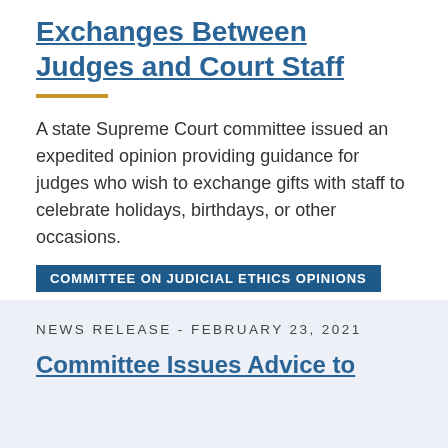Exchanges Between Judges and Court Staff
A state Supreme Court committee issued an expedited opinion providing guidance for judges who wish to exchange gifts with staff to celebrate holidays, birthdays, or other occasions.
COMMITTEE ON JUDICIAL ETHICS OPINIONS
NEWS RELEASE - FEBRUARY 23, 2021
Committee Issues Advice to